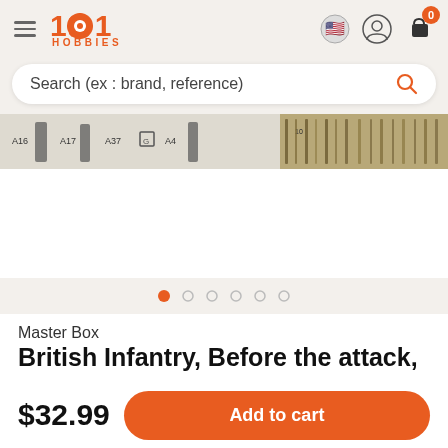1001 HOBBIES
Search (ex : brand, reference)
[Figure (photo): Product image strip showing model kit parts with labels A16, A17, A37, G, A4 and plastic sprues]
Master Box
British Infantry, Before the attack,
$32.99
Add to cart